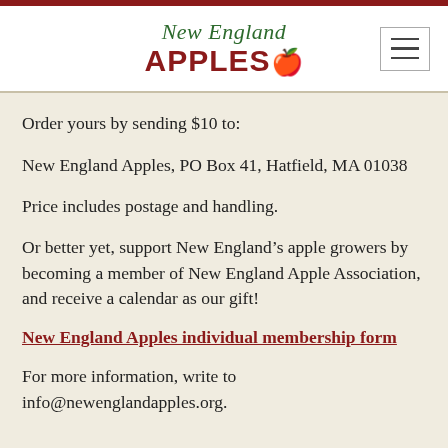New England APPLES
Order yours by sending $10 to:
New England Apples, PO Box 41, Hatfield, MA 01038
Price includes postage and handling.
Or better yet, support New England’s apple growers by becoming a member of New England Apple Association, and receive a calendar as our gift!
New England Apples individual membership form
For more information, write to info@newenglandapples.org.